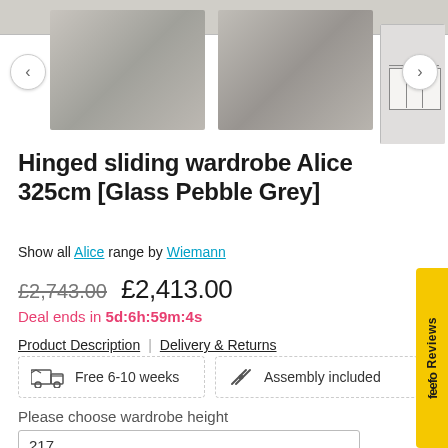[Figure (photo): Top grey image strip showing partial wardrobe photo at top of page]
[Figure (photo): Thumbnail row with three wardrobe images: two room photos of grey hinged sliding wardrobes and one technical schematic drawing, with left/right navigation arrows]
Hinged sliding wardrobe Alice 325cm [Glass Pebble Grey]
Show all Alice range by Wiemann
£2,743.00  £2,413.00
Deal ends in 5d:6h:59m:4s
Product Description | Delivery & Returns
Free 6-10 weeks
Assembly included
Please choose wardrobe height
217